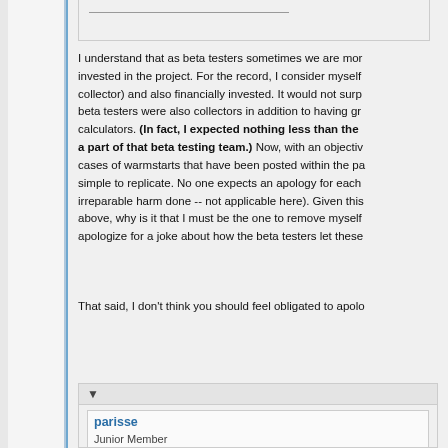I understand that as beta testers sometimes we are more invested in the project. For the record, I consider myself collector) and also financially invested. It would not surpr beta testers were also collectors in addition to having gre calculators. (In fact, I expected nothing less than the b a part of that beta testing team.) Now, with an objectiv cases of warmstarts that have been posted within the pa simple to replicate. No one expects an apology for each irreparable harm done -- not applicable here). Given this above, why is it that I must be the one to remove myself apologize for a joke about how the beta testers let these
That said, I don't think you should feel obligated to apolo
▼
parisse
Junior Member